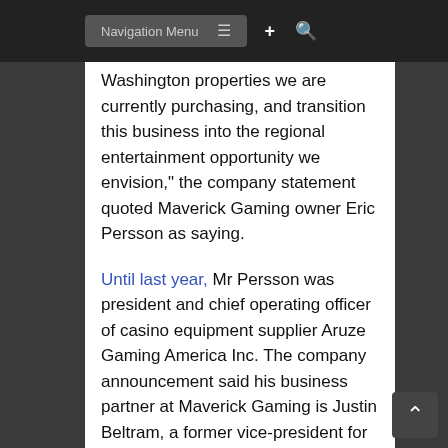Navigation Menu
Washington properties we are currently purchasing, and transition this business into the regional entertainment opportunity we envision," the company statement quoted Maverick Gaming owner Eric Persson as saying.
Until last year, Mr Persson was president and chief operating officer of casino equipment supplier Aruze Gaming America Inc. The company announcement said his business partner at Maverick Gaming is Justin Beltram, a former vice-president for slot machines at the Marina Bay Sands casino resort in Singapore.
Maverick Gaming owns the Wendover Nugget and Red Garter Hotel, in Nevada, which contain more than 600 hotel rooms and 1,200 slot machines.